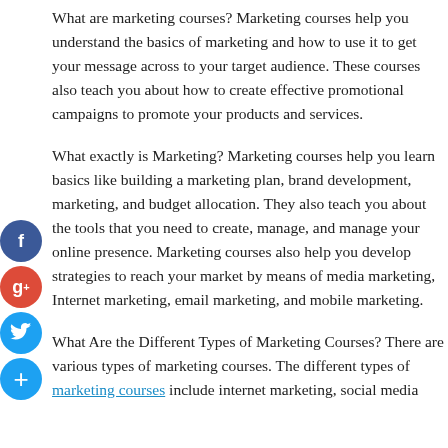What are marketing courses? Marketing courses help you understand the basics of marketing and how to use it to get your message across to your target audience. These courses also teach you about how to create effective promotional campaigns to promote your products and services.
What exactly is Marketing? Marketing courses help you learn basics like building a marketing plan, brand development, marketing, and budget allocation. They also teach you about the tools that you need to create, manage, and manage your online presence. Marketing courses also help you develop strategies to reach your market by means of media marketing, Internet marketing, email marketing, and mobile marketing.
What Are the Different Types of Marketing Courses? There are various types of marketing courses. The different types of marketing courses include internet marketing, social media